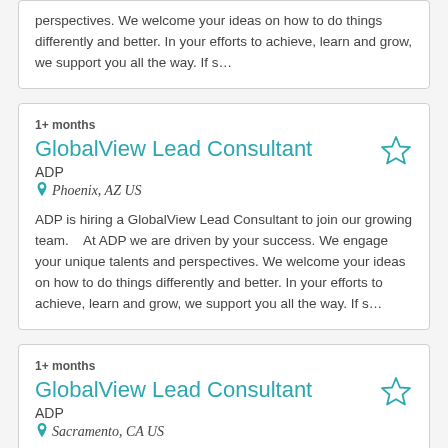perspectives. We welcome your ideas on how to do things differently and better. In your efforts to achieve, learn and grow, we support you all the way. If s…
1+ months
GlobalView Lead Consultant
ADP
Phoenix, AZ US
ADP is hiring a GlobalView Lead Consultant to join our growing team.    At ADP we are driven by your success. We engage your unique talents and perspectives. We welcome your ideas on how to do things differently and better. In your efforts to achieve, learn and grow, we support you all the way. If s…
1+ months
GlobalView Lead Consultant
ADP
Sacramento, CA US